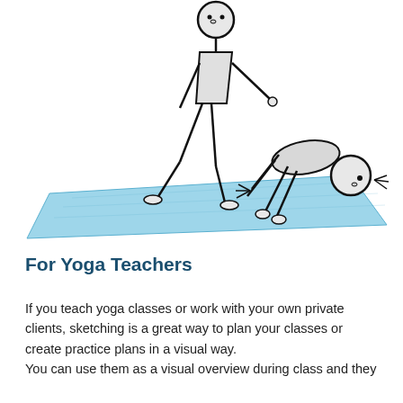[Figure (illustration): Stick figure illustration of a yoga teacher assisting a student in a forward fold or downward dog pose on a blue yoga mat. The teacher is standing and bending over to assist, while the student has their head down and hands on the mat.]
For Yoga Teachers
If you teach yoga classes or work with your own private clients, sketching is a great way to plan your classes or create practice plans in a visual way. You can use them as a visual overview during class and they also serve as a starting point for more detailed sequences.